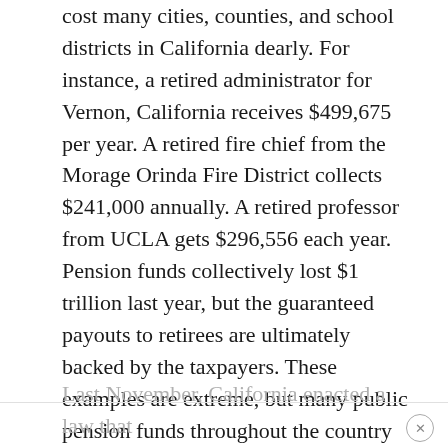cost many cities, counties, and school districts in California dearly. For instance, a retired administrator for Vernon, California receives $499,675 per year. A retired fire chief from the Morage Orinda Fire District collects $241,000 annually. A retired professor from UCLA gets $296,556 each year. Pension funds collectively lost $1 trillion last year, but the guaranteed payouts to retirees are ultimately backed by the taxpayers. These examples are extreme, but many public pension funds throughout the country are going to face severe funding issues in coming years. The generosity of public pension funds and the future liability they will impose on taxpayers is sure to ignite a backlash.
Last November, California enacted a law that